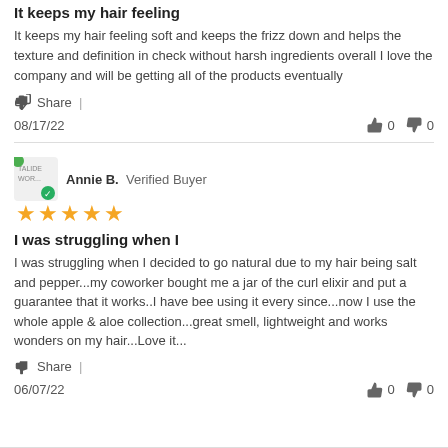It keeps my hair feeling
It keeps my hair feeling soft and keeps the frizz down and helps the texture and definition in check without harsh ingredients overall I love the company and will be getting all of the products eventually
Share |
08/17/22    👍 0  👎 0
Annie B. Verified Buyer
[Figure (other): Five yellow stars rating with verified buyer badge and logo]
I was struggling when I
I was struggling when I decided to go natural due to my hair being salt and pepper...my coworker bought me a jar of the curl elixir and put a guarantee that it works..I have bee using it every since...now I use the whole apple & aloe collection...great smell, lightweight and works wonders on my hair...Love it...
Share |
06/07/22    👍 0  👎 0